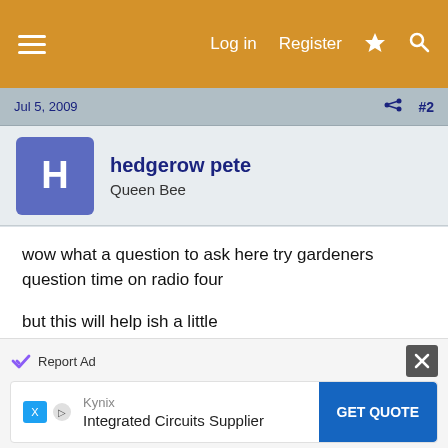Log in  Register
Jul 5, 2009   #2
hedgerow pete
Queen Bee
wow what a question to ask here try gardeners question time on radio four

but this will help ish a little
a flower when it starts to open will produce nector and pollen, this will be in various quantities depending on its choosen pollinater, still with me?

now from the start of flowering the plant will produce a constant amount of necture and pollen to the end
[Figure (infographic): Advertisement banner: Report Ad label with checkmark icon and close button, Kynix Integrated Circuits Supplier ad with GET QUOTE button]